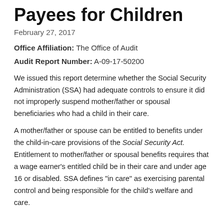Payees for Children
February 27, 2017
Office Affiliation: The Office of Audit
Audit Report Number: A-09-17-50200
We issued this report determine whether the Social Security Administration (SSA) had adequate controls to ensure it did not improperly suspend mother/father or spousal beneficiaries who had a child in their care.
A mother/father or spouse can be entitled to benefits under the child-in-care provisions of the Social Security Act. Entitlement to mother/father or spousal benefits requires that a wage earner's entitled child be in their care and under age 16 or disabled. SSA defines "in care" as exercising parental control and being responsible for the child's welfare and care.